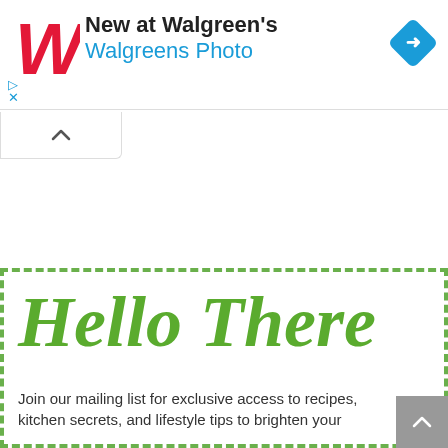[Figure (screenshot): Walgreens ad banner with red W logo, text 'New at Walgreen's' and 'Walgreens Photo' in blue, and a blue diamond navigation icon on the right]
[Figure (other): Collapse/minimize tab button with upward chevron]
Hello There
Join our mailing list for exclusive access to recipes, kitchen secrets, and lifestyle tips to brighten your